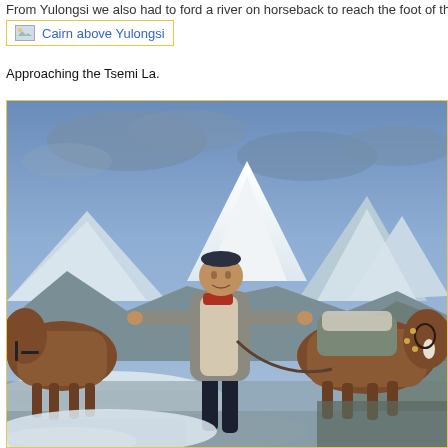From Yulongsi we also had to ford a river on horseback to reach the foot of the mountains.
[Figure (other): Broken image placeholder link labeled 'Cairn above Yulongsi']
Approaching the Tsemi La.
[Figure (photo): A man standing between two pack horses on a snowy mountain pass, with large snow-capped peaks visible in the background under a partly cloudy sky.]